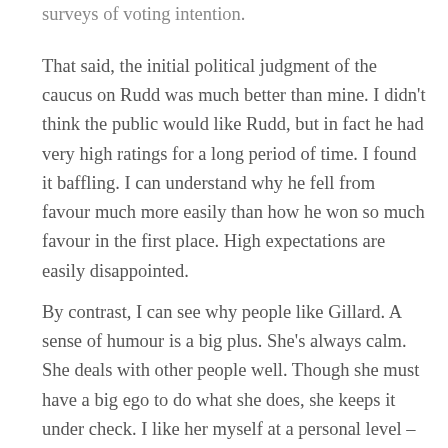surveys of voting intention.
That said, the initial political judgment of the caucus on Rudd was much better than mine. I didn't think the public would like Rudd, but in fact he had very high ratings for a long period of time. I found it baffling. I can understand why he fell from favour much more easily than how he won so much favour in the first place. High expectations are easily disappointed.
By contrast, I can see why people like Gillard. A sense of humour is a big plus. She's always calm. She deals with other people well. Though she must have a big ego to do what she does, she keeps it under check. I like her myself at a personal level – though from my political